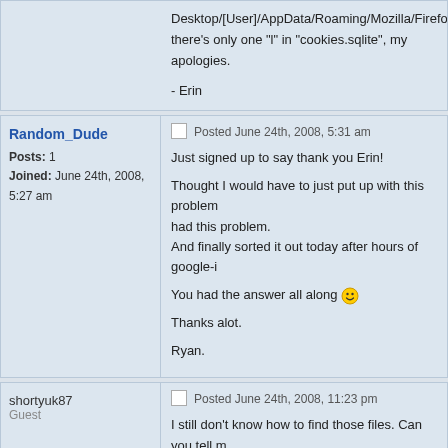Desktop/[User]/AppData/Roaming/Mozilla/Firefox/Pro... there's only one "l" in "cookies.sqlite", my apologies.

- Erin
Random_Dude
Posts: 1
Joined: June 24th, 2008, 5:27 am

Posted June 24th, 2008, 5:31 am

Just signed up to say thank you Erin!

Thought I would have to just put up with this problem... had this problem.
And finally sorted it out today after hours of google-i...

You had the answer all along :)

Thanks alot.

Ryan.
shortyuk87
Guest

Posted June 24th, 2008, 11:23 pm

I still don't know how to find those files. Can you tell m... because I think what you wrote is the path on your co...